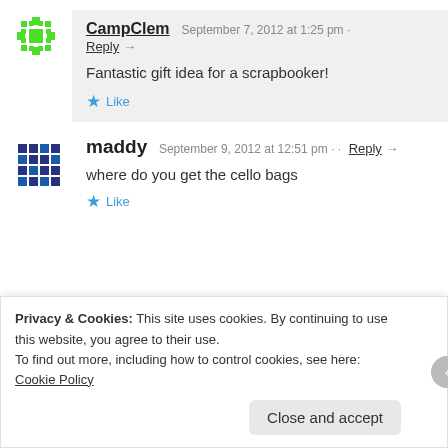[Figure (illustration): Green snowflake/star mosaic avatar for CampClem]
CampClem  September 7, 2012 at 1:25 pm · Reply →
Fantastic gift idea for a scrapbooker!
★ Like
[Figure (illustration): Blue pixel/mosaic avatar for maddy]
maddy  September 9, 2012 at 12:51 pm · · Reply →
where do you get the cello bags
★ Like
Privacy & Cookies: This site uses cookies. By continuing to use this website, you agree to their use.
To find out more, including how to control cookies, see here: Cookie Policy
Close and accept